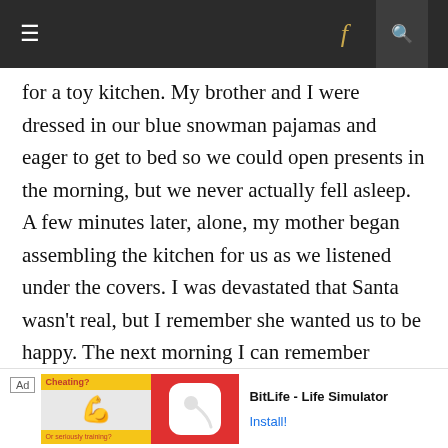Navigation bar with hamburger menu, Facebook link, and search icon
for a toy kitchen. My brother and I were dressed in our blue snowman pajamas and eager to get to bed so we could open presents in the morning, but we never actually fell asleep. A few minutes later, alone, my mother began assembling the kitchen for us as we listened under the covers. I was devastated that Santa wasn't real, but I remember she wanted us to be happy. The next morning I can remember wishing she would be happy too.
*
Ad — Cheating? BitLife - Life Simulator Install!